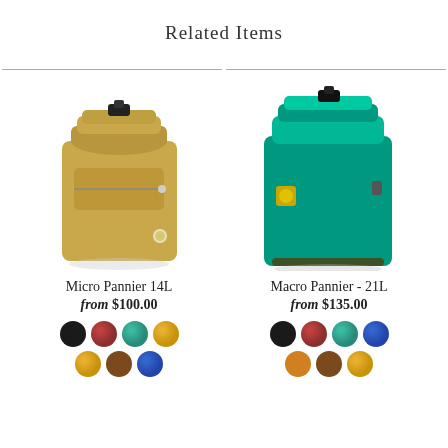Related Items
[Figure (photo): Tan/khaki Micro Pannier 14L bike bag with roll-top closure and front zipper pocket]
Micro Pannier 14L
from $100.00
[Figure (photo): Teal Macro Pannier 21L bike bag with roll-top closure and logo patch]
Macro Pannier - 21L
from $135.00